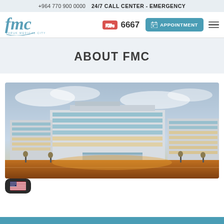+964 770 900 0000  24/7 CALL CENTER - EMERGENCY
[Figure (logo): FMC (Faruk Medical City) logo in teal/blue italic script]
6667
APPOINTMENT
ABOUT FMC
[Figure (photo): Exterior night/dusk photo of Faruk Medical City hospital building complex, large modern white multi-story building with blue glass windows illuminated]
[Figure (other): US flag icon button in dark rounded rectangle]